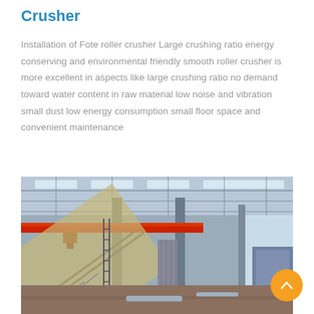Crusher
Installation of Fote roller crusher Large crushing ratio energy conserving and environmental friendly smooth roller crusher is more excellent in aspects like large crushing ratio no demand toward water content in raw material low noise and vibration small dust low energy consumption small floor space and convenient maintenance
[Figure (photo): Interior of a large industrial factory/warehouse with steel columns, overhead conveyor belts, a red crane, and industrial machinery including a roller crusher setup. The facility has skylights in the metal roof structure.]